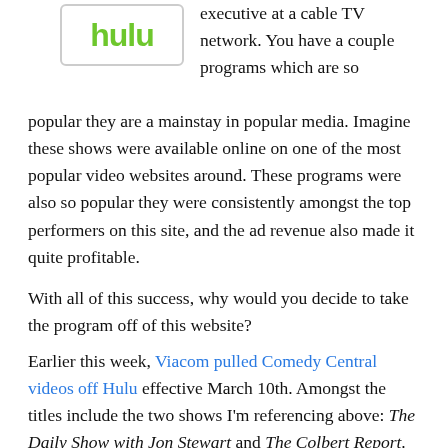[Figure (logo): Hulu logo in green text inside a rounded rectangle box]
executive at a cable TV network. You have a couple programs which are so popular they are a mainstay in popular media. Imagine these shows were available online on one of the most popular video websites around. These programs were also so popular they were consistently amongst the top performers on this site, and the ad revenue also made it quite profitable.
With all of this success, why would you decide to take the program off of this website?
Earlier this week, Viacom pulled Comedy Central videos off Hulu effective March 10th. Amongst the titles include the two shows I'm referencing above: The Daily Show with Jon Stewart and The Colbert Report. The Daily Show has long been a powerful satire program in the United States, and Stephen Colbert of the The Colbert Report has been